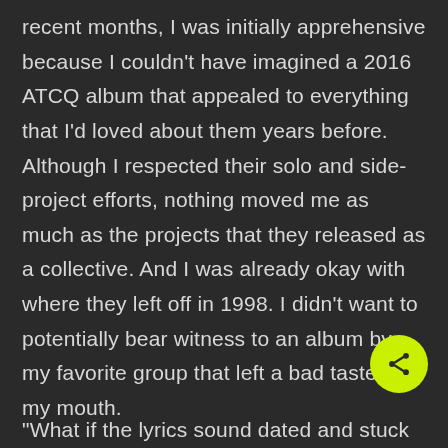recent months, I was initially apprehensive because I couldn't have imagined a 2016 ATCQ album that appealed to everything that I'd loved about them years before. Although I respected their solo and side-project efforts, nothing moved me as much as the projects that they released as a collective. And I was already okay with where they left off in 1998. I didn't want to potentially bear witness to an album by my favorite group that left a bad taste in my mouth.
"What if the lyrics sound dated and stuck